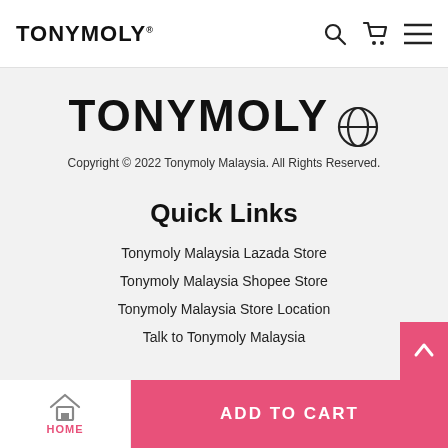TONYMOLY
[Figure (logo): TONYMOLY logo with registered trademark globe icon]
Copyright © 2022 Tonymoly Malaysia. All Rights Reserved.
Quick Links
Tonymoly Malaysia Lazada Store
Tonymoly Malaysia Shopee Store
Tonymoly Malaysia Store Location
Talk to Tonymoly Malaysia
Follow Us
HOME | ADD TO CART